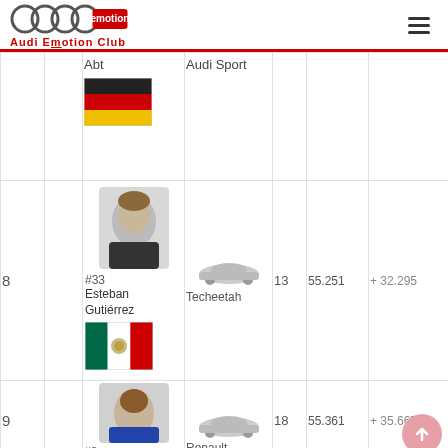Audi Emotion Club
| Pos |  | Driver | Team/Car | Laps | Time | Gap |
| --- | --- | --- | --- | --- | --- | --- |
|  | #? | Abt | Audi Sport |  |  |  |
| 8 | #33 | Esteban Gutiérrez | Techeetah | 13 | 55.251 | + 32.295 |
| 9 | #8 |  | Renault | 18 | 55.361 | + 35.667 |